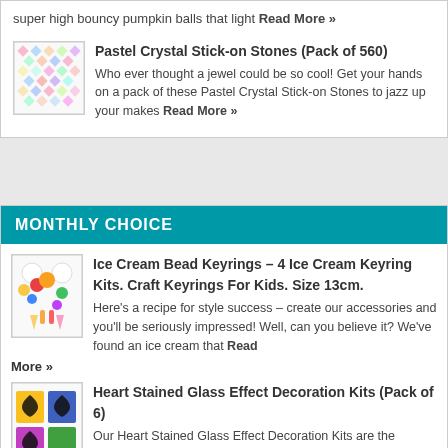super high bouncy pumpkin balls that light Read More »
Pastel Crystal Stick-on Stones (Pack of 560)
Who ever thought a jewel could be so cool! Get your hands on a pack of these Pastel Crystal Stick-on Stones to jazz up your makes Read More »
MONTHLY CHOICE
Ice Cream Bead Keyrings – 4 Ice Cream Keyring Kits. Craft Keyrings For Kids. Size 13cm.
Here's a recipe for style success – create our accessories and you'll be seriously impressed! Well, can you believe it? We've found an ice cream that Read More »
Heart Stained Glass Effect Decoration Kits (Pack of 6)
Our Heart Stained Glass Effect Decoration Kits are the Valentine's crafts you've been waiting for. Combining bold black heart templates with vibrantly coloured